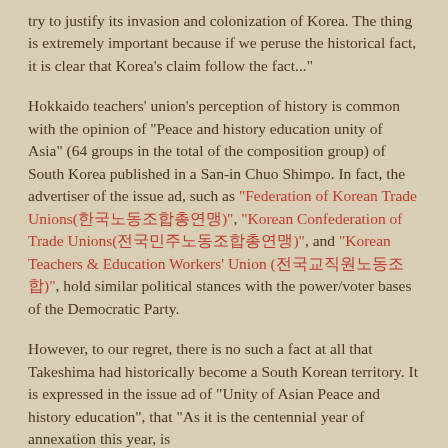try to justify its invasion and colonization of Korea. The thing is extremely important because if we peruse the historical fact, it is clear that Korea's claim follow the fact..."
Hokkaido teachers' union's perception of history is common with the opinion of "Peace and history education unity of Asia" (64 groups in the total of the composition group) of South Korea published in a San-in Chuo Shimpo. In fact, the advertiser of the issue ad, such as "Federation of Korean Trade Unions(한국노동조합총연맹)", "Korean Confederation of Trade Unions(전국민주노동조합총연맹)", and "Korean Teachers & Education Workers' Union (전국교직원노동조합)", hold similar political stances with the power/voter bases of the Democratic Party.
However, to our regret, there is no such a fact at all that Takeshima had historically become a South Korean territory. It is expressed in the issue ad of "Unity of Asian Peace and history education", that "As it is the centennial year of annexation this year, is